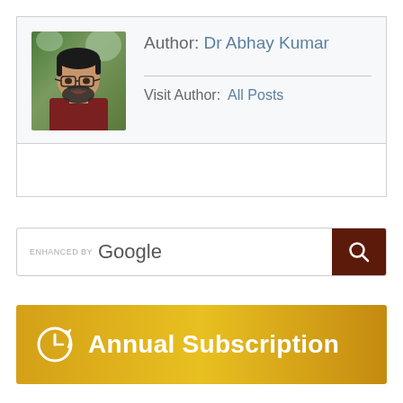[Figure (photo): Author photo of Dr Abhay Kumar - a man with glasses and a beard wearing a dark red shirt, outdoors with green background]
Author: Dr Abhay Kumar
Visit Author:  All Posts
[Figure (screenshot): Google search bar with 'ENHANCED BY Google' text and a dark brown search button with magnifying glass icon]
[Figure (infographic): Annual Subscription banner with gold/yellow gradient background, clock refresh icon, and bold white text reading 'Annual Subscription']